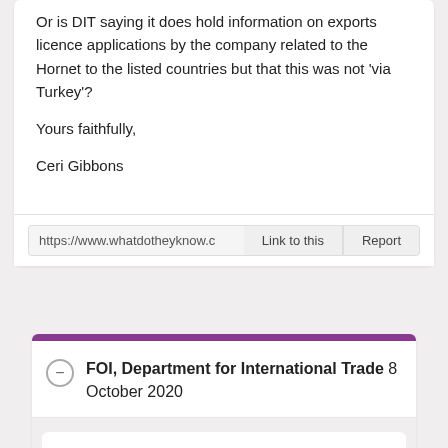Or is DIT saying it does hold information on exports licence applications by the company related to the Hornet to the listed countries but that this was not 'via Turkey'?
Yours faithfully,
Ceri Gibbons
https://www.whatdotheyknow.c
FOI, Department for International Trade 8 October 2020